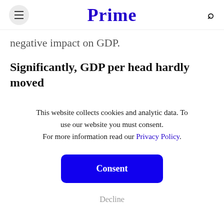Prime
negative impact on GDP.
Significantly, GDP per head hardly moved
This website collects cookies and analytic data. To use our website you must consent. For more information read our Privacy Policy.

Consent

Decline